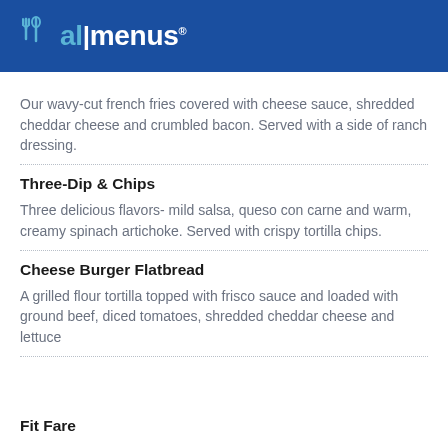allmenus
Our wavy-cut french fries covered with cheese sauce, shredded cheddar cheese and crumbled bacon. Served with a side of ranch dressing.
Three-Dip & Chips
Three delicious flavors- mild salsa, queso con carne and warm, creamy spinach artichoke. Served with crispy tortilla chips.
Cheese Burger Flatbread
A grilled flour tortilla topped with frisco sauce and loaded with ground beef, diced tomatoes, shredded cheddar cheese and lettuce
Fit Fare